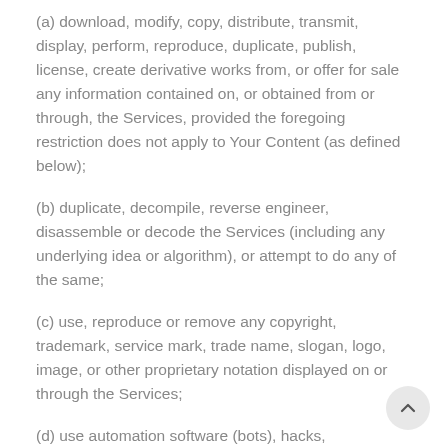(a) download, modify, copy, distribute, transmit, display, perform, reproduce, duplicate, publish, license, create derivative works from, or offer for sale any information contained on, or obtained from or through, the Services, provided the foregoing restriction does not apply to Your Content (as defined below);
(b) duplicate, decompile, reverse engineer, disassemble or decode the Services (including any underlying idea or algorithm), or attempt to do any of the same;
(c) use, reproduce or remove any copyright, trademark, service mark, trade name, slogan, logo, image, or other proprietary notation displayed on or through the Services;
(d) use automation software (bots), hacks, unauthorized modifications (mods) or any other unauthorized third-party software designed to modify the Services;